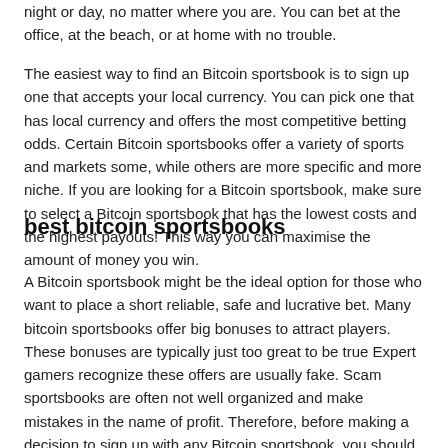night or day, no matter where you are. You can bet at the office, at the beach, or at home with no trouble.
The easiest way to find an Bitcoin sportsbook is to sign up one that accepts your local currency. You can pick one that has local currency and offers the most competitive betting odds. Certain Bitcoin sportsbooks offer a variety of sports and markets some, while others are more specific and more niche. If you are looking for a Bitcoin sportsbook, make sure to select a Bitcoin sportsbook that has the lowest costs and the highest payouts! This way you can maximise the amount of money you win.
best bitcoin sportsbooks
A Bitcoin sportsbook might be the ideal option for those who want to place a short reliable, safe and lucrative bet. Many bitcoin sportsbooks offer big bonuses to attract players. These bonuses are typically just too great to be true Expert gamers recognize these offers are usually fake. Scam sportsbooks are often not well organized and make mistakes in the name of profit. Therefore, before making a decision to sign up with any Bitcoin sportsbook, you should be sure to investigate their reputation and the payout rates.